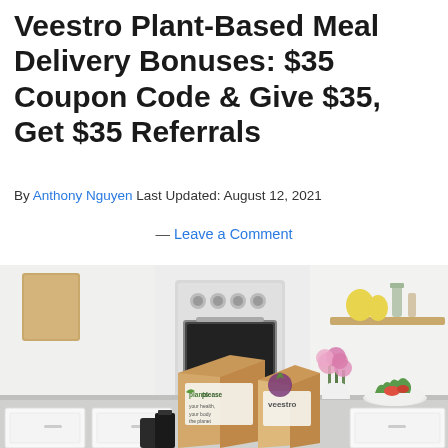Veestro Plant-Based Meal Delivery Bonuses: $35 Coupon Code & Give $35, Get $35 Referrals
By Anthony Nguyen Last Updated: August 12, 2021
— Leave a Comment
[Figure (photo): Kitchen scene with Veestro meal delivery boxes labeled 'plantsplease' and 'veestro' sitting on a counter, with a stainless steel oven in the background, pink flowers, a bowl of vegetables, and a wooden cutting board on the wall.]